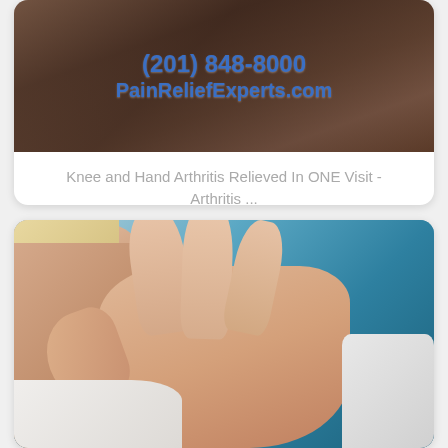[Figure (photo): Top portion of a card showing a person in a plaid shirt with overlaid text showing phone number (201) 848-8000 and website PainReliefExperts.com in blue]
Knee and Hand Arthritis Relieved In ONE Visit - Arthritis ...
[Figure (photo): A woman with blonde hair holding her hand, examining her fingers against a teal/blue background, suggesting hand arthritis pain]